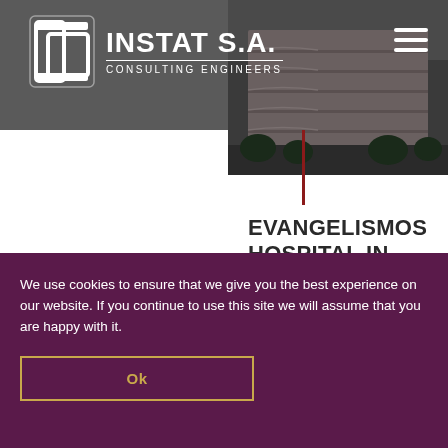INSTAT S.A. CONSULTING ENGINEERS
[Figure (photo): Exterior photograph of a multi-story hospital building with curved balconies, photographed in dim lighting]
EVANGELISMOS HOSPITAL IN ATHENS
11 May 2004
EVANGELISMOS
We use cookies to ensure that we give you the best experience on our website. If you continue to use this site we will assume that you are happy with it.
Ok